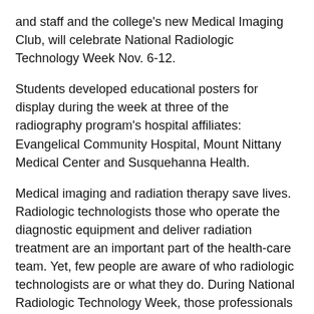and staff and the college's new Medical Imaging Club, will celebrate National Radiologic Technology Week Nov. 6-12.
Students developed educational posters for display during the week at three of the radiography program's hospital affiliates: Evangelical Community Hospital, Mount Nittany Medical Center and Susquehanna Health.
Medical imaging and radiation therapy save lives. Radiologic technologists those who operate the diagnostic equipment and deliver radiation treatment are an important part of the health-care team. Yet, few people are aware of who radiologic technologists are or what they do. During National Radiologic Technology Week, those professionals take the opportunity to educate the public about their vital role in modern medicine and patient care.
Through its radiography major, Penn College has been educating and training radiography students for 40 years. Since the major's inception, 565 students have graduated